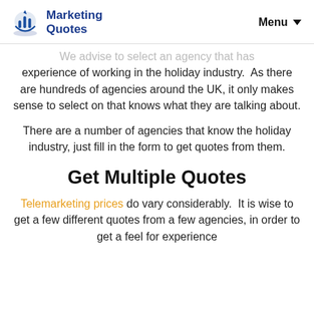Marketing Quotes | Menu
...experience of working in the holiday industry. As there are hundreds of agencies around the UK, it only makes sense to select on that knows what they are talking about.
There are a number of agencies that know the holiday industry, just fill in the form to get quotes from them.
Get Multiple Quotes
Telemarketing prices do vary considerably. It is wise to get a few different quotes from a few agencies, in order to get a feel for experience